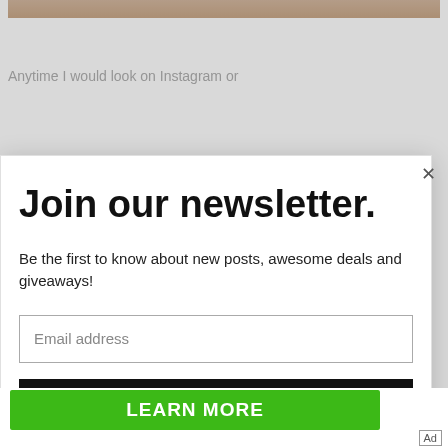[Figure (photo): Partial image at top of page, appears to show food or natural texture in warm beige/brown tones]
Anytime I would look on Instagram or
Join our newsletter.
Be the first to know about new posts, awesome deals and giveaways!
Email address
Subscribe
[Figure (screenshot): Green advertisement banner with 'LEARN MORE' button and ad controls]
Get An Oil Change Near You
Ad